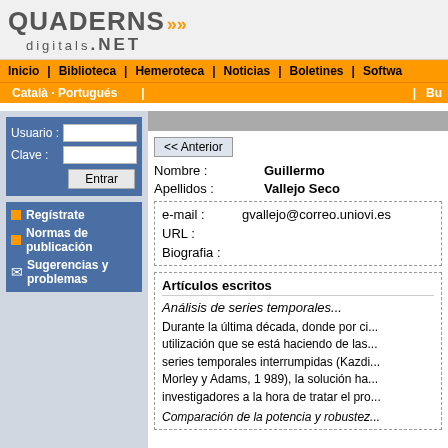QUADERNS digitals.NET
Inicio | Biblioteca | Hemeroteca | Noticias | Boletines | Softwa
Català · Portugués | | Bu
Usuario : Clave : Entrar
Regístrate
Normas de publicación
Sugerencias y problemas
<< Anterior
Nombre : Guillermo
Apellidos : Vallejo Seco
e-mail : gvallejo@correo.uniovi.es
URL :
Biografia :
Artículos escritos
Análisis de series temporales...
Durante la última década, donde por ci... utilización que se está haciendo de las... series temporales interrumpidas (Kazdi... Morley y Adams, 1 989), la solución ha... investigadores a la hora de tratar el pro...
Comparación de la potencia y robustez...